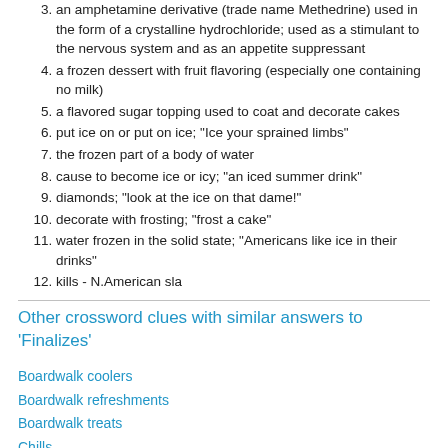3. an amphetamine derivative (trade name Methedrine) used in the form of a crystalline hydrochloride; used as a stimulant to the nervous system and as an appetite suppressant
4. a frozen dessert with fruit flavoring (especially one containing no milk)
5. a flavored sugar topping used to coat and decorate cakes
6. put ice on or put on ice; "Ice your sprained limbs"
7. the frozen part of a body of water
8. cause to become ice or icy; "an iced summer drink"
9. diamonds; "look at the ice on that dame!"
10. decorate with frosting; "frost a cake"
11. water frozen in the solid state; "Americans like ice in their drinks"
12. kills - N.American sla
Other crossword clues with similar answers to 'Finalizes'
Boardwalk coolers
Boardwalk refreshments
Boardwalk treats
Chills